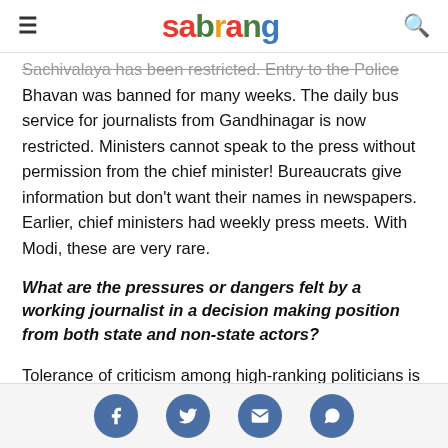sabrang
Sachivalaya has been restricted. Entry to the Police Bhavan was banned for many weeks. The daily bus service for journalists from Gandhinagar is now restricted. Ministers cannot speak to the press without permission from the chief minister! Bureaucrats give information but don't want their names in newspapers. Earlier, chief ministers had weekly press meets. With Modi, these are very rare.
What are the pressures or dangers felt by a working journalist in a decision making position from both state and non-state actors?
Tolerance of criticism among high-ranking politicians is the lowest in the present regime in Gujarat. If you
Social share icons: Facebook, Twitter, Email, WhatsApp